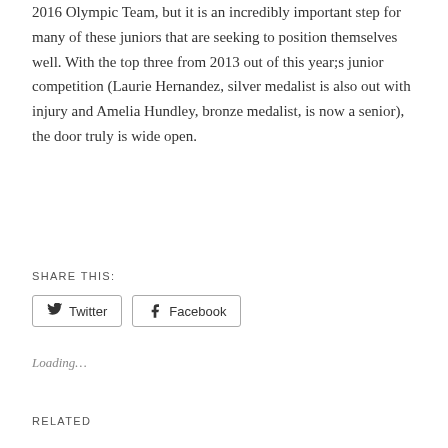2016 Olympic Team, but it is an incredibly important step for many of these juniors that are seeking to position themselves well. With the top three from 2013 out of this year;s junior competition (Laurie Hernandez, silver medalist is also out with injury and Amelia Hundley, bronze medalist, is now a senior), the door truly is wide open.
SHARE THIS:
[Figure (other): Twitter and Facebook share buttons]
Loading…
RELATED